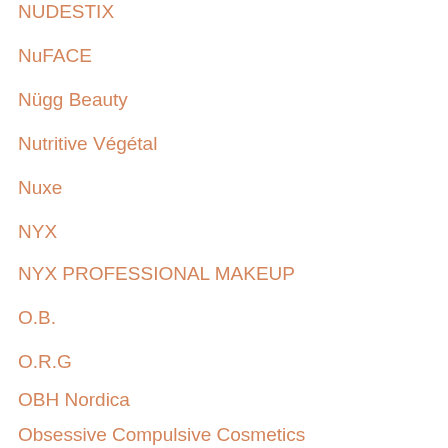NUDESTIX
NuFACE
Nügg Beauty
Nutritive Végétal
Nuxe
NYX
NYX PROFESSIONAL MAKEUP
O.B.
O.R.G
OBH Nordica
Obsessive Compulsive Cosmetics
OGX